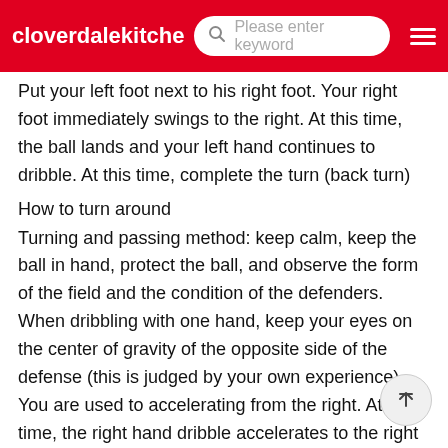cloverdalekitche | Please enter keyword
Put your left foot next to his right foot. Your right foot immediately swings to the right. At this time, the ball lands and your left hand continues to dribble. At this time, complete the turn (back turn)
How to turn around
Turning and passing method: keep calm, keep the ball in hand, protect the ball, and observe the form of the field and the condition of the defenders. When dribbling with one hand, keep your eyes on the center of gravity of the opposite side of the defense (this is judged by your own experience). You are used to accelerating from the right. At this time, the right hand dribble accelerates to the right to break through and defendIllustration of turning skills in basketball
Time to complete the turn: if you pass, you should appro others and lean on the opponent. After the turn, your right foot should be stuck between the two feet of the defender